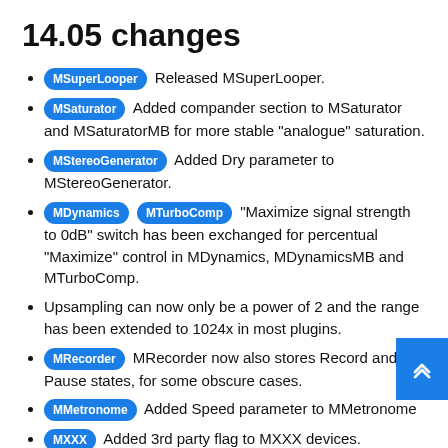14.05 changes
MSuperLooper Released MSuperLooper.
MSaturator Added compander section to MSaturator and MSaturatorMB for more stable "analogue" saturation.
MStereoGenerator Added Dry parameter to MStereoGenerator.
MDynamics MTurboComp "Maximize signal strength to 0dB" switch has been exchanged for percentual "Maximize" control in MDynamics, MDynamicsMB and MTurboComp.
Upsampling can now only be a power of 2 and the range has been extended to 1024x in most plugins.
MRecorder MRecorder now also stores Record and Pause states, for some obscure cases.
MMetronome Added Speed parameter to MMetronome
MXXX Added 3rd party flag to MXXX devices.
Added "Functional outside note range" switch to note controllers.